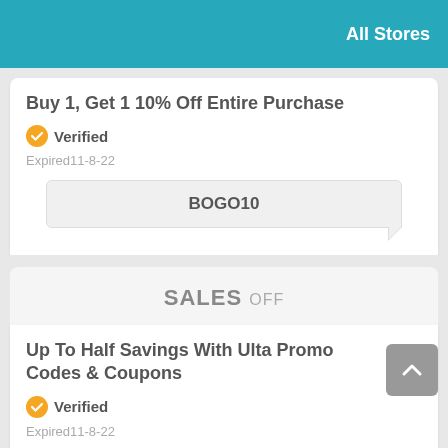All Stores
Buy 1, Get 1 10% Off Entire Purchase
Verified
Expired11-8-22
BOGO10
SALES OFF
Up To Half Savings With Ulta Promo Codes & Coupons
Verified
Expired11-8-22